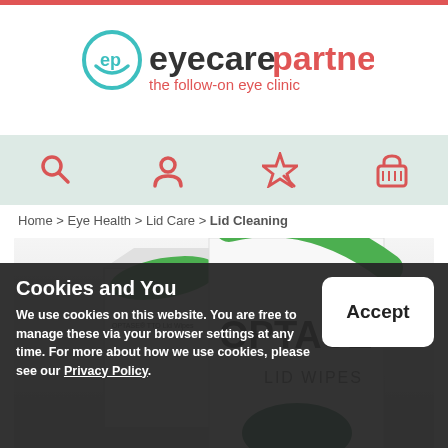[Figure (logo): Eyecare Partners logo with 'ep' symbol in teal and coral/red wordmark 'eyecarepartners' with tagline 'the follow-on eye clinic']
[Figure (infographic): Navigation bar with four icons: search (magnifying glass), user/person, magic wand/star, shopping basket - all in coral/red color on light teal background]
Home > Eye Health > Lid Care > Lid Cleaning
[Figure (photo): Product photo of OPTASE TTO Lid Wipes box with green swoosh design, partially cut off at bottom]
Cookies and You
We use cookies on this website. You are free to manage these via your browser settings at any time. For more about how we use cookies, please see our Privacy Policy.
[Figure (other): Accept button (white rounded rectangle with bold text 'Accept')]